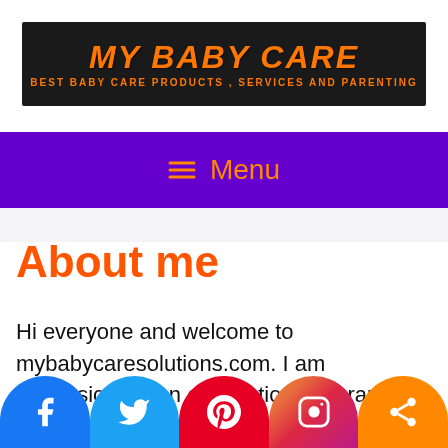[Figure (logo): My Baby Care website banner with orange script text 'MY BABY CARE' and subtitle 'BEST BABY CARE PRODUCTS, SERVICES AND PARENTING' on dark background]
☰ Menu
About me
Hi everyone and welcome to mybabycaresolutions.com. I am professionally an occupational therapist and an entrepreneur so I am
[Figure (other): Social media share buttons row: Facebook (blue), Twitter (light blue), Pinterest (red), Instagram (gradient), Share (orange)]